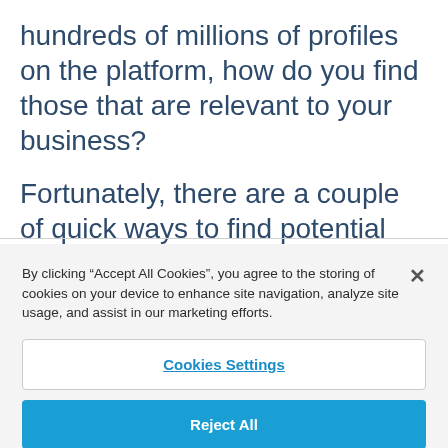hundreds of millions of profiles on the platform, how do you find those that are relevant to your business?
Fortunately, there are a couple of quick ways to find potential prospects:
By clicking “Accept All Cookies”, you agree to the storing of cookies on your device to enhance site navigation, analyze site usage, and assist in our marketing efforts.
Cookies Settings
Reject All
Accept All Cookies